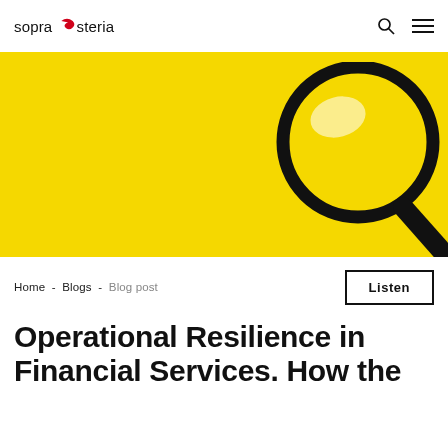sopra steria
[Figure (photo): Yellow background with a magnifying glass in the upper right area, photographed from above on a bright yellow surface.]
Home - Blogs - Blog post
Operational Resilience in Financial Services. How the